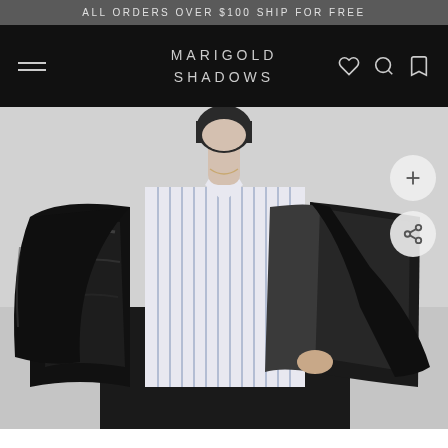ALL ORDERS OVER $100 SHIP FOR FREE
MARIGOLD SHADOWS
[Figure (photo): Fashion model wearing a black shiny cropped leather bomber jacket open over a blue-and-white vertical striped shirt and black wide-leg trousers, holding the jacket open, photographed against a light grey background.]